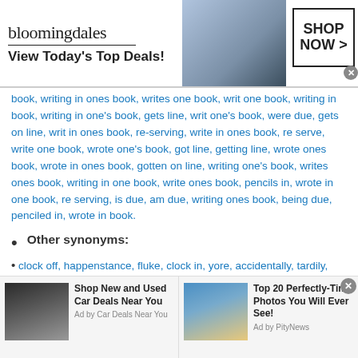[Figure (other): Bloomingdale's advertisement banner with logo, model wearing hat, 'View Today's Top Deals!' text, and 'SHOP NOW >' button]
book, writing in ones book, writes one book, writ one book, writing in book, writing in one's book, gets line, writ one's book, were due, gets on line, writ in ones book, re-serving, write in ones book, re serve, write one book, wrote one's book, got line, getting line, wrote ones book, wrote in ones book, gotten on line, writing one's book, writes ones book, writing in one book, write ones book, pencils in, wrote in one book, re serving, is due, am due, writing ones book, being due, penciled in, wrote in book.
Other synonyms:
• clock off, happenstance, fluke, clock in, yore, accidentally, tardily, far-flung, coincidence, betimes, push back, coetaneous, jiffy, Detainment, fugacious, serendipity,
[Figure (other): Bottom advertisement: 'Shop New and Used Car Deals Near You' by Car Deals Near You, with car image]
[Figure (other): Bottom advertisement: 'Top 20 Perfectly-Time Photos You Will Ever See!' by PityNews, with beach photo]